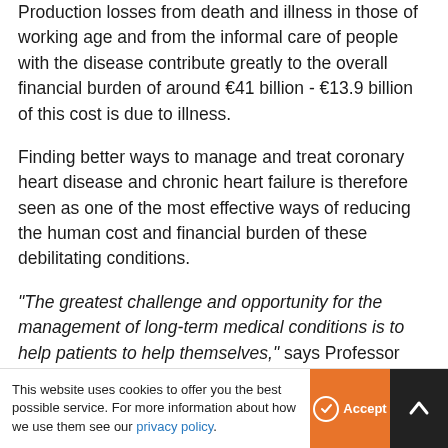Production losses from death and illness in those of working age and from the informal care of people with the disease contribute greatly to the overall financial burden of around €41 billion - €13.9 billion of this cost is due to illness.
Finding better ways to manage and treat coronary heart disease and chronic heart failure is therefore seen as one of the most effective ways of reducing the human cost and financial burden of these debilitating conditions.
"The greatest challenge and opportunity for the management of long-term medical conditions is to help patients to help themselves," says Professor John Cleland MD, Head of the Department of Cardiology at the University of Hull (UK), past chairman of both the
This website uses cookies to offer you the best possible service. For more information about how we use them see our privacy policy.